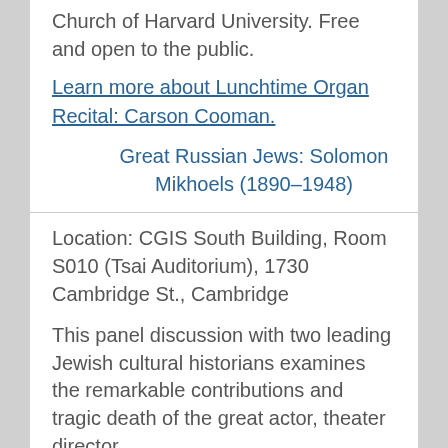Church of Harvard University. Free and open to the public.
Learn more about Lunchtime Organ Recital: Carson Cooman.
Great Russian Jews: Solomon Mikhoels (1890–1948)
Location: CGIS South Building, Room S010 (Tsai Auditorium), 1730 Cambridge St., Cambridge
This panel discussion with two leading Jewish cultural historians examines the remarkable contributions and tragic death of the great actor, theater director,